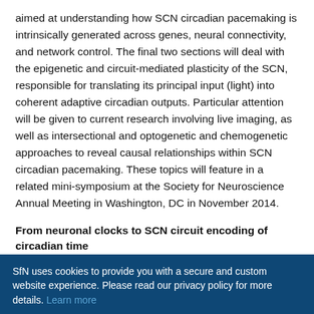aimed at understanding how SCN circadian pacemaking is intrinsically generated across genes, neural connectivity, and network control. The final two sections will deal with the epigenetic and circuit-mediated plasticity of the SCN, responsible for translating its principal input (light) into coherent adaptive circadian outputs. Particular attention will be given to current research involving live imaging, as well as intersectional and optogenetic and chemogenetic approaches to reveal causal relationships within SCN circadian pacemaking. These topics will feature in a related mini-symposium at the Society for Neuroscience Annual Meeting in Washington, DC in November 2014.
From neuronal clocks to SCN circuit encoding of circadian time
SfN uses cookies to provide you with a secure and custom website experience. Please read our privacy policy for more details. Learn more